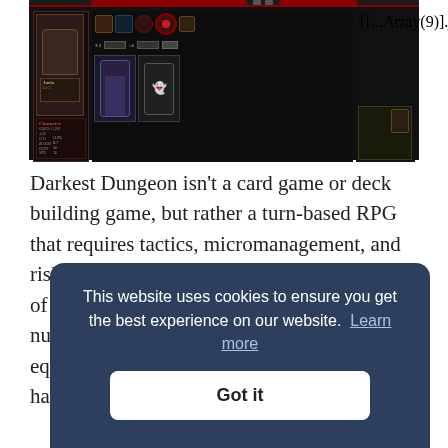[Figure (screenshot): Darkest Dungeon game UI screenshot showing character management screen with hero portraits, skill icons, stats panel, and enemy slots on dark background]
Darkest Dungeon isn't a card game or deck building game, but rather a turn-based RPG that requires tactics, micromanagement, and risk management. Fans of the strategical nature of StS will enjoy getting to learn all the nuances of this game, and will also be well equipped to deal with losing, which will happen a lot as you learn the game.
Th... gr... ex... tre... preventing your Heroes from dying, as deaths are
This website uses cookies to ensure you get the best experience on our website.  Learn more
Got it